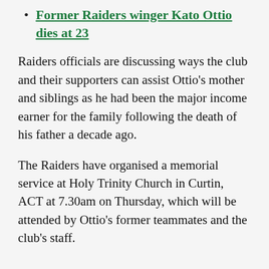Former Raiders winger Kato Ottio dies at 23
Raiders officials are discussing ways the club and their supporters can assist Ottio's mother and siblings as he had been the major income earner for the family following the death of his father a decade ago.
The Raiders have organised a memorial service at Holy Trinity Church in Curtin, ACT at 7.30am on Thursday, which will be attended by Ottio's former teammates and the club's staff.